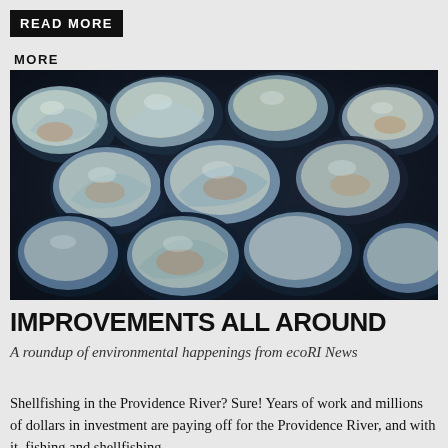READ MORE
MORE
[Figure (photo): Close-up photograph of many clam and mussel shells piled together, showing bluish-black, tan, and orange hues on their ribbed surfaces.]
IMPROVEMENTS ALL AROUND
A roundup of environmental happenings from ecoRI News
Shellfishing in the Providence River? Sure! Years of work and millions of dollars in investment are paying off for the Providence River, and with it, fishing and shellfishing